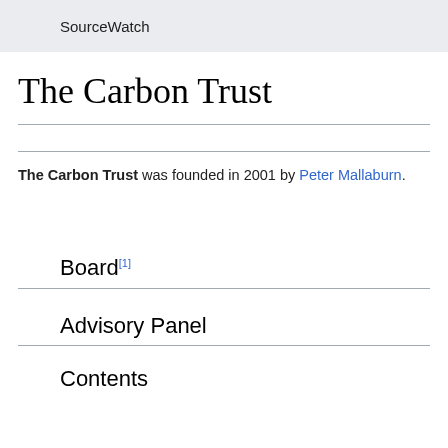SourceWatch
The Carbon Trust
The Carbon Trust was founded in 2001 by Peter Mallaburn.
Board[1]
Advisory Panel
Contents